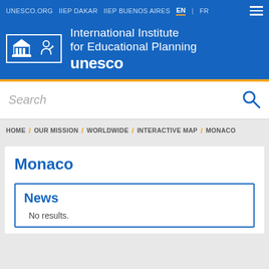UNESCO.ORG   IIEP DAKAR   IIEP BUENOS AIRES   EN | FR
[Figure (logo): UNESCO IIEP logo with building and arrow icon, text: International Institute for Educational Planning, unesco]
Search
HOME / OUR MISSION / WORLDWIDE / INTERACTIVE MAP / MONACO
Monaco
News
No results.